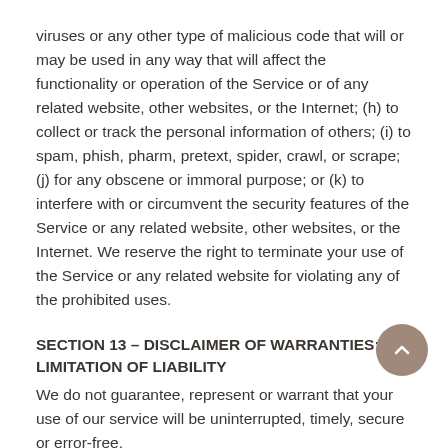viruses or any other type of malicious code that will or may be used in any way that will affect the functionality or operation of the Service or of any related website, other websites, or the Internet; (h) to collect or track the personal information of others; (i) to spam, phish, pharm, pretext, spider, crawl, or scrape; (j) for any obscene or immoral purpose; or (k) to interfere with or circumvent the security features of the Service or any related website, other websites, or the Internet. We reserve the right to terminate your use of the Service or any related website for violating any of the prohibited uses.
SECTION 13 – DISCLAIMER OF WARRANTIES; LIMITATION OF LIABILITY
We do not guarantee, represent or warrant that your use of our service will be uninterrupted, timely, secure or error-free. We do not warrant that the results that may be obtained from the use of the service will be accurate or reliable. You agree that from time to time we may remove the service for indefinite periods of time or cancel the service at any time, without notice to you.
You expressly agree that your use of, or inability to use, the service is at your sole risk.